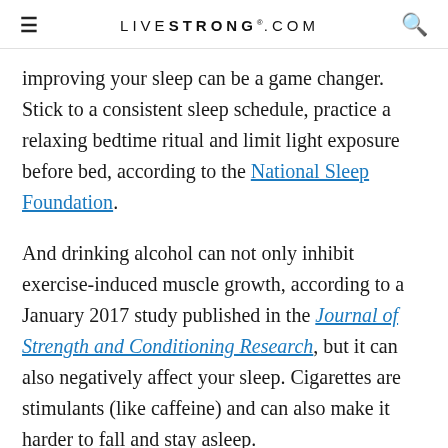LIVESTRONG.COM
Improving your sleep can be a game changer. Stick to a consistent sleep schedule, practice a relaxing bedtime ritual and limit light exposure before bed, according to the National Sleep Foundation.
And drinking alcohol can not only inhibit exercise-induced muscle growth, according to a January 2017 study published in the Journal of Strength and Conditioning Research, but it can also negatively affect your sleep. Cigarettes are stimulants (like caffeine) and can also make it harder to fall and stay asleep.
Exercise and sleep work together in a cycle to help you get the most out of your body's HGH production. While exercise can help trigger production of human